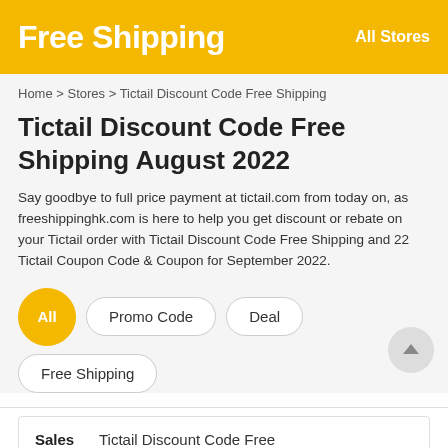Free Shipping   All Stores
Home > Stores > Tictail Discount Code Free Shipping
Tictail Discount Code Free Shipping August 2022
Say goodbye to full price payment at tictail.com from today on, as freeshippinghk.com is here to help you get discount or rebate on your Tictail order with Tictail Discount Code Free Shipping and 22 Tictail Coupon Code & Coupon for September 2022.
All
Promo Code
Deal
Free Shipping
| Sales |  |
| --- | --- |
| Sales | Tictail Discount Code Free |